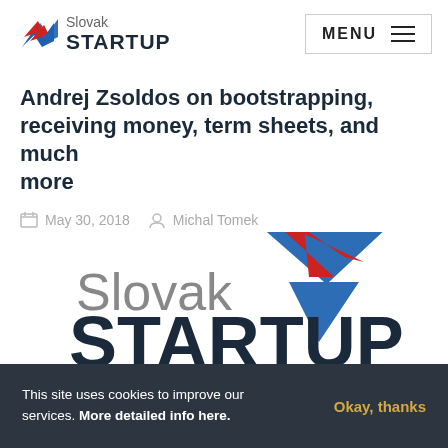Slovak STARTUP | MENU
Andrej Zsoldos on bootstrapping, receiving money, term sheets, and much more
May 30, 2018   Michal Tomek
[Figure (logo): Slovak Startup Show logo with red and blue arrow graphics and text reading 'Slovak STARTUP show' in large bold font]
This site uses cookies to improve our services. More detailed info here.   Okay, thanks